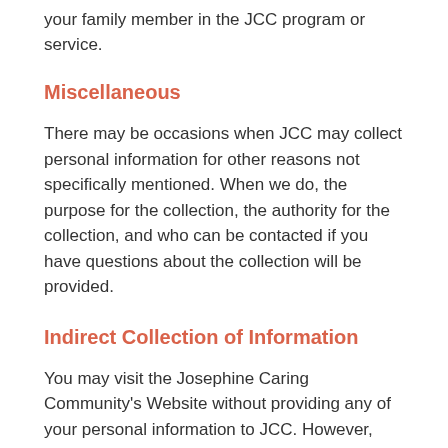your family member in the JCC program or service.
Miscellaneous
There may be occasions when JCC may collect personal information for other reasons not specifically mentioned. When we do, the purpose for the collection, the authority for the collection, and who can be contacted if you have questions about the collection will be provided.
Indirect Collection of Information
You may visit the Josephine Caring Community's Website without providing any of your personal information to JCC. However, Josephine Caring Community may automatically collect information related to the use of the JCC's Website by using a browser tool known as a “cookie”. A cookie is generated by the JCC's server, and is sent to your computer and stored there. These cookies